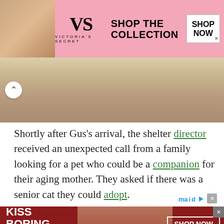[Figure (other): Victoria's Secret advertisement banner with model, VS logo, 'SHOP THE COLLECTION' text, and 'SHOP NOW' button]
[Figure (photo): Photo strip showing fur/fabric textures, with navigation chevron button]
Shortly after Gus’s arrival, the shelter director received an unexpected call from a family looking for a pet who could be a companion for their aging mother. They asked if there was a senior cat they could adopt.
[Figure (other): Macy's lipstick advertisement: 'KISS BORING LIPS GOODBYE' with model photo and 'SHOP NOW' button]